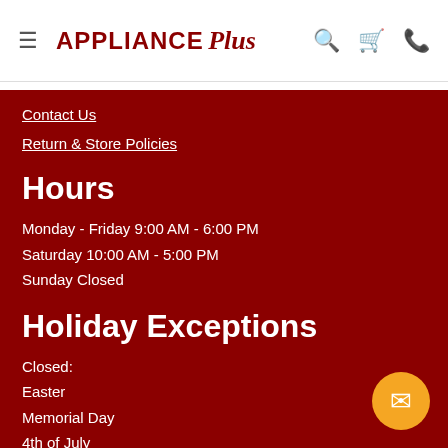APPLIANCE Plus
Contact Us
Return & Store Policies
Hours
Monday - Friday 9:00 AM - 6:00 PM
Saturday 10:00 AM - 5:00 PM
Sunday Closed
Holiday Exceptions
Closed:
Easter
Memorial Day
4th of July